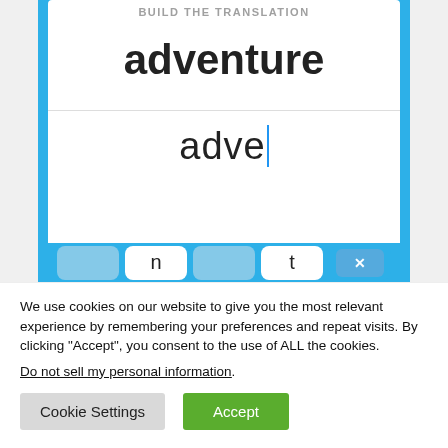[Figure (screenshot): Mobile app screenshot showing 'BUILD THE TRANSLATION' label at top, the word 'adventure' displayed in large bold text, a typing area showing 'adve' with a cursor, and a keyboard row with keys 'n', unlabeled, 't', and a backspace button, all on a blue background.]
We use cookies on our website to give you the most relevant experience by remembering your preferences and repeat visits. By clicking “Accept”, you consent to the use of ALL the cookies.
Do not sell my personal information.
Cookie Settings
Accept